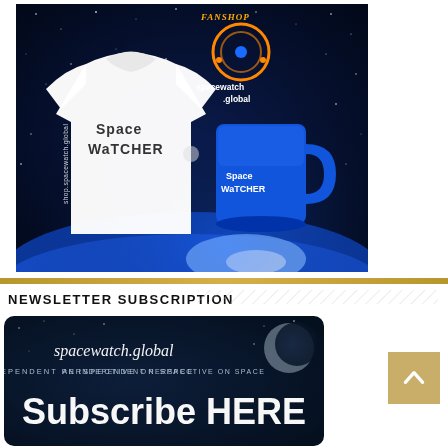[Figure (photo): Spacewatch.global Fanshop advertisement showing a white t-shirt with 'Space WaTCHER' text and a blue mug with 'Space WaTCHER' text, set against a space/stars background. The Spacewatch.global logo with orange ring is in the upper right. Text at bottom left reads 'shop.spacewatch.global'. Orange text 'FANSHOP' at top.]
NEWSLETTER SUBSCRIPTION
[Figure (photo): Spacewatch.global newsletter subscription banner showing dark space background with moon. Text reads 'spacewatch.global AN INDEPENDENT PERSPECTIVE ON SPACE Subscribe HERE']